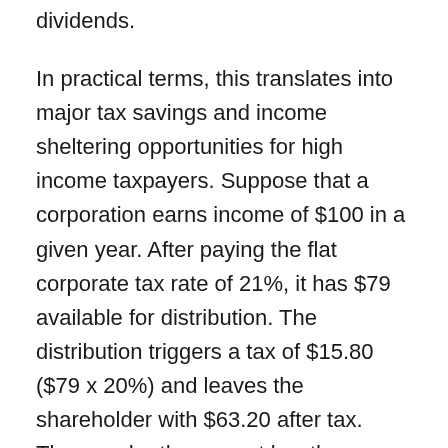dividends.
In practical terms, this translates into major tax savings and income sheltering opportunities for high income taxpayers. Suppose that a corporation earns income of $100 in a given year. After paying the flat corporate tax rate of 21%, it has $79 available for distribution. The distribution triggers a tax of $15.80 ($79 x 20%) and leaves the shareholder with $63.20 after tax. Thus, under the current law the maximum combined burden on distributed corporate earnings is 36.8% – which is lower than the maximum individual rate of 37%. This